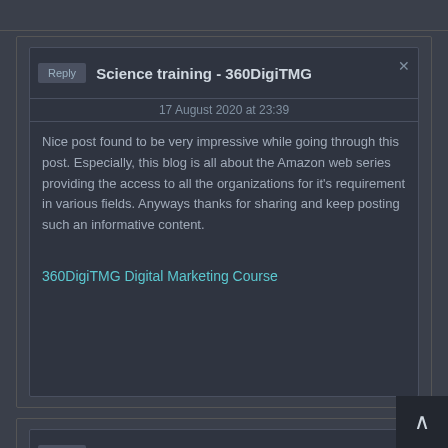Science training - 360DigiTMG
17 August 2020 at 23:39
Nice post found to be very impressive while going through this post. Especially, this blog is all about the Amazon web series providing the access to all the organizations for it's requirement in various fields. Anyways thanks for sharing and keep posting such an informative content.
360DigiTMG Digital Marketing Course
ourse in Raipur - 360DigiTMG
20 August 2020 at 18:04
Excellent blog found to be very impressive to come across such an